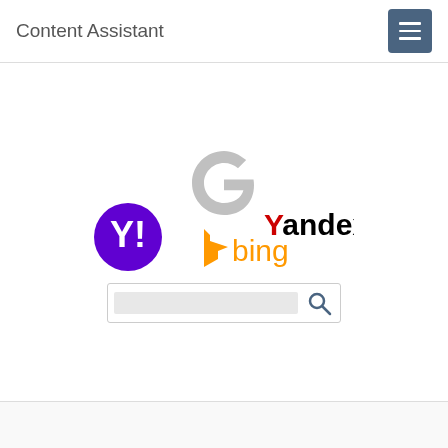Content Assistant
[Figure (screenshot): Search engine logos (Google G faded, Yahoo!, Bing, Yandex) arranged around a search bar input field]